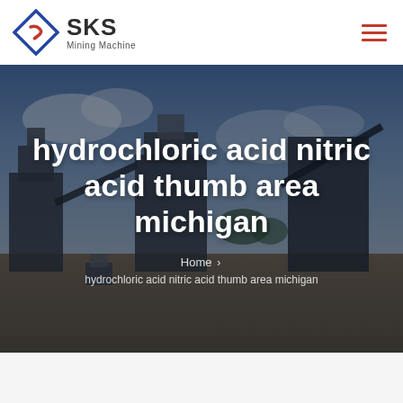SKS Mining Machine
[Figure (screenshot): SKS Mining Machine website hero banner showing a mining/crushing plant facility with large industrial machinery under a cloudy sky. Overlaid with dark semi-transparent filter.]
hydrochloric acid nitric acid thumb area michigan
Home > hydrochloric acid nitric acid thumb area michigan